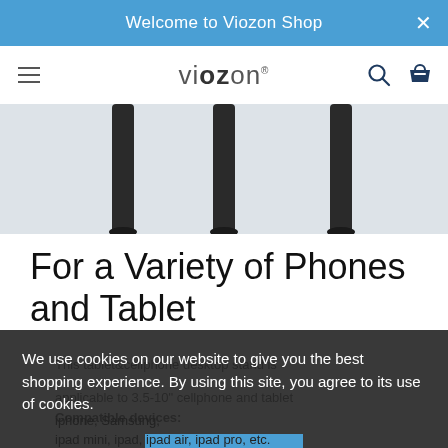Welcome to Viozon Shop
[Figure (logo): Viozon logo with hamburger menu, search icon, and basket icon in navigation bar]
[Figure (photo): Product photo showing multiple black desk stand poles/arms on a light grey background]
For a Variety of Phones and Tablet
This tablet&cellphone desktop stand is applicable to 3.5-10" cellphone and tablet
Compatible devices:
iphone, Samsung,
ipad mini, ipad, ipad air, ipad pro, etc.
We use cookies on our website to give you the best shopping experience. By using this site, you agree to its use of cookies.